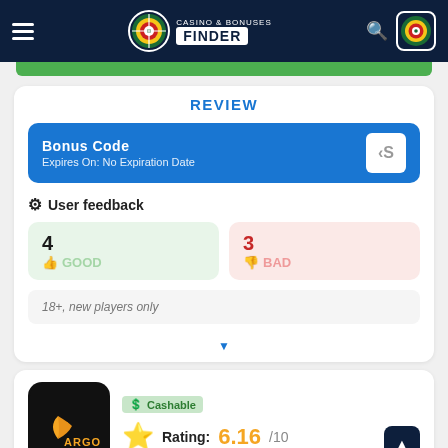Casino & Bonuses Finder
REVIEW
Bonus Code
Expires On: No Expiration Date
User feedback
4 GOOD
3 BAD
18+, new players only
Cashable
Rating: 6.16/10